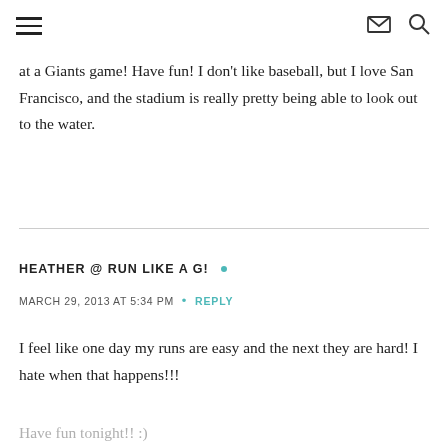≡  ✉ 🔍
at a Giants game! Have fun! I don't like baseball, but I love San Francisco, and the stadium is really pretty being able to look out to the water.
HEATHER @ RUN LIKE A G! •
MARCH 29, 2013 AT 5:34 PM • REPLY
I feel like one day my runs are easy and the next they are hard! I hate when that happens!!!
Have fun tonight!! :)